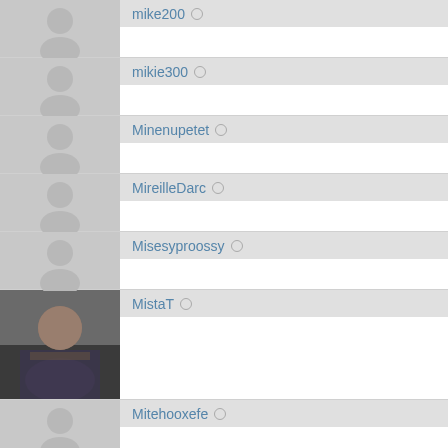mike200
mikie300
Minenupetet
MireilleDarc
Misesyproossy
MistaT
Mitehooxefe
mldzszmt